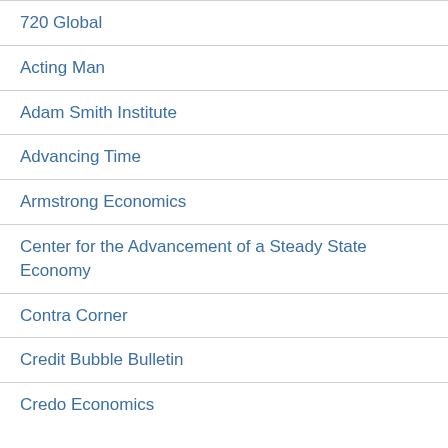720 Global
Acting Man
Adam Smith Institute
Advancing Time
Armstrong Economics
Center for the Advancement of a Steady State Economy
Contra Corner
Credit Bubble Bulletin
Credo Economics